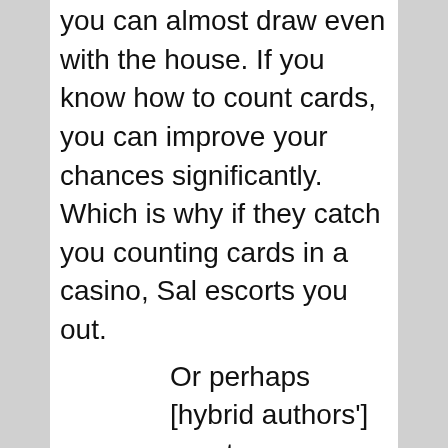you can almost draw even with the house. If you know how to count cards, you can improve your chances significantly. Which is why if they catch you counting cards in a casino, Sal escorts you out.
Or perhaps [hybrid authors'] greater success is the result of little more than the name-recognition boost that comes with having a brand developed in the traditional publishing world.
I would say there is more to it: the ability to write, proven over time.
Or maybe their success is a matter of selection: The hybrid authors surveyed were good enough to